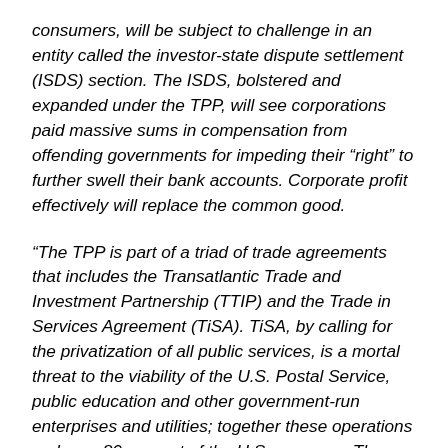consumers, will be subject to challenge in an entity called the investor-state dispute settlement (ISDS) section. The ISDS, bolstered and expanded under the TPP, will see corporations paid massive sums in compensation from offending governments for impeding their “right” to further swell their bank accounts. Corporate profit effectively will replace the common good.
“The TPP is part of a triad of trade agreements that includes the Transatlantic Trade and Investment Partnership (TTIP) and the Trade in Services Agreement (TiSA). TiSA, by calling for the privatization of all public services, is a mortal threat to the viability of the U.S. Postal Service, public education and other government-run enterprises and utilities; together these operations make up 80 percent of the U.S. economy. The TTIP and TiSA are still in the negotiation phase. They will follow on